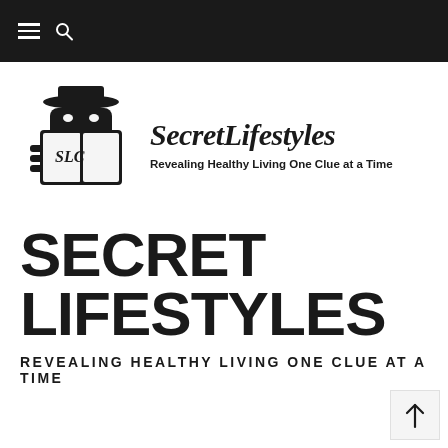[Figure (logo): Secret Lifestyles logo featuring a black silhouette figure reading a book with 'SLC' on it and wearing a hat, next to the cursive text 'Secret Lifestyles' and tagline 'Revealing Healthy Living One Clue at a Time']
SECRET LIFESTYLES
REVEALING HEALTHY LIVING ONE CLUE AT A TIME